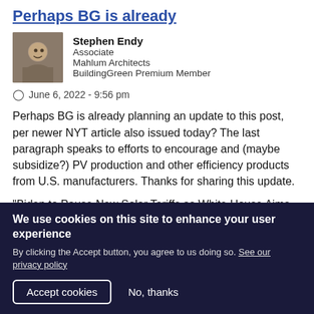Perhaps BG is already
Stephen Endy
Associate
Mahlum Architects
BuildingGreen Premium Member
June 6, 2022 - 9:56 pm
Perhaps BG is already planning an update to this post, per newer NYT article also issued today? The last paragraph speaks to efforts to encourage and (maybe subsidize?) PV production and other efficiency products from U.S. manufacturers. Thanks for sharing this update.
"Biden to Pause New Solar Tariffs as White House Aims to Encourage Adoption" https://nyti.ms/3zgnfOv
We use cookies on this site to enhance your user experience
By clicking the Accept button, you agree to us doing so. See our privacy policy
Accept cookies   No, thanks